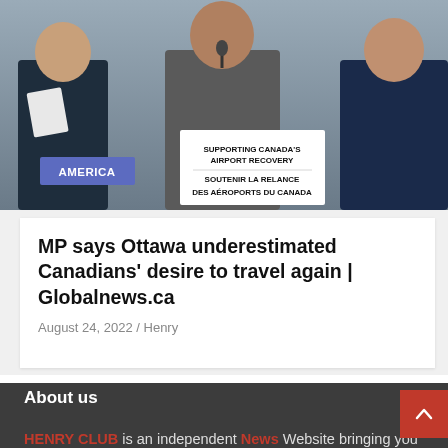[Figure (photo): People at a podium with a sign reading 'Supporting Canada's Airport Recovery / Soutenir la relance des aéroports du Canada'. An 'AMERICA' badge is visible on the left.]
MP says Ottawa underestimated Canadians' desire to travel again | Globalnews.ca
August 24, 2022 / Henry
About us
HENRY CLUB is an independent News Website bringing you comprehensive and unbiased news of the country and around the world. It offers round-the-clock coverage of the latest news covering day-to-day happenings, politics, the entertainment industry, social media, business, health, tech,